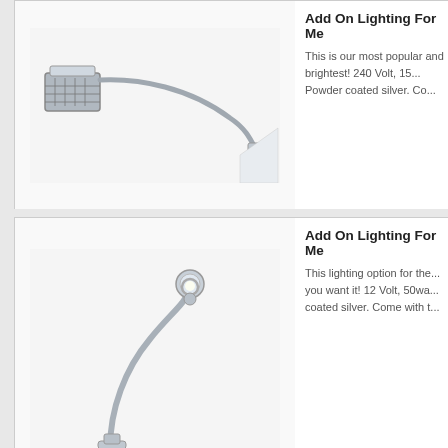[Figure (photo): LED reading lamp with flexible arm mounted to a surface, silver/chrome finish, viewed from side]
Add On Lighting For Me
This is our most popular and brightest! 240 Volt, 15... Powder coated silver. Co...
[Figure (photo): Halogen spot reading lamp with curved flexible arm, chrome head, silver powder coated finish]
Add On Lighting For Me
This lighting option for the... you want it! 12 Volt, 50wa... coated silver. Come with t...